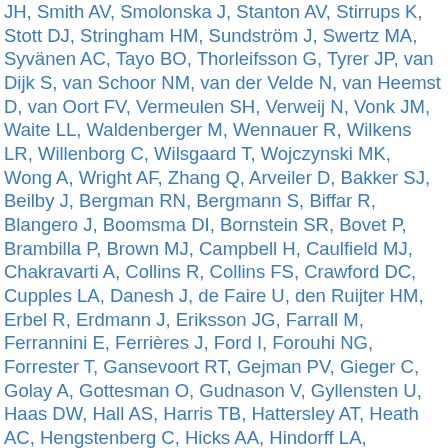JH, Smith AV, Smolonska J, Stanton AV, Stirrups K, Stott DJ, Stringham HM, Sundström J, Swertz MA, Syvänen AC, Tayo BO, Thorleifsson G, Tyrer JP, van Dijk S, van Schoor NM, van der Velde N, van Heemst D, van Oort FV, Vermeulen SH, Verweij N, Vonk JM, Waite LL, Waldenberger M, Wennauer R, Wilkens LR, Willenborg C, Wilsgaard T, Wojczynski MK, Wong A, Wright AF, Zhang Q, Arveiler D, Bakker SJ, Beilby J, Bergman RN, Bergmann S, Biffar R, Blangero J, Boomsma DI, Bornstein SR, Bovet P, Brambilla P, Brown MJ, Campbell H, Caulfield MJ, Chakravarti A, Collins R, Collins FS, Crawford DC, Cupples LA, Danesh J, de Faire U, den Ruijter HM, Erbel R, Erdmann J, Eriksson JG, Farrall M, Ferrannini E, Ferrières J, Ford I, Forouhi NG, Forrester T, Gansevoort RT, Gejman PV, Gieger C, Golay A, Gottesman O, Gudnason V, Gyllensten U, Haas DW, Hall AS, Harris TB, Hattersley AT, Heath AC, Hengstenberg C, Hicks AA, Hindorff LA, Hingorani AD, Hofman A, Hovingh GK, Humphries SE, Hunt SC, Hyppönen E, Jacobs KB, Järvelin MR, Jousilahti P, Jula AM, Kaprio J, Kastelein JJ, Kayser M, Kee F, Keinanen-Kiukaanniemi SM, Kiemeney